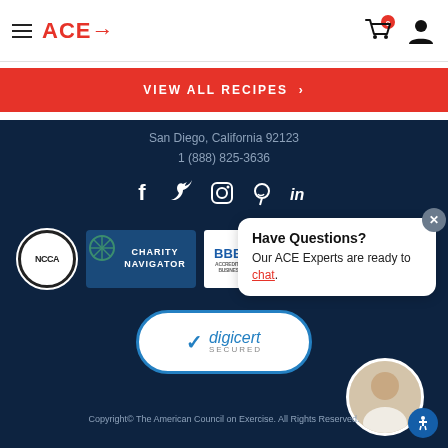ACE→
VIEW ALL RECIPES >
San Diego, California 92123
1 (888) 825-3636
[Figure (infographic): Social media icons: Facebook, Twitter, Instagram, Pinterest, LinkedIn]
[Figure (logo): NCCA badge, Charity Navigator badge, BBB Accredited Business badge]
[Figure (logo): DigiCert Secured badge]
[Figure (infographic): Have Questions? Our ACE Experts are ready to chat. Chat popup with close button and agent avatar.]
Copyright© The American Council on Exercise. All Rights Reserved.